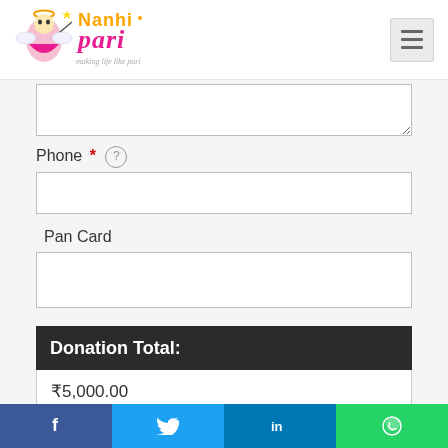[Figure (logo): Nanhi Pari logo with angel mascot and text 'making life like pari']
Phone * (?) [input field]
Pan Card [input field]
Donation Total:
₹5,000.00
[Figure (other): reCAPTCHA badge]
Social share bar: Facebook, Twitter, LinkedIn, WhatsApp